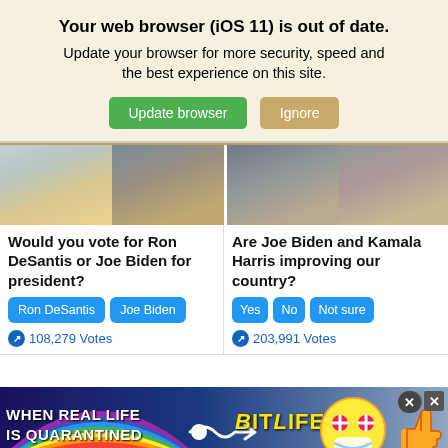Your web browser (iOS 11) is out of date. Update your browser for more security, speed and the best experience on this site.
[Figure (screenshot): Two buttons: green 'Update browser' and tan 'Ignore']
[Figure (photo): Photos of Ron DeSantis and Joe Biden side by side]
Would you vote for Ron DeSantis or Joe Biden for president?
[Figure (screenshot): Poll buttons: Ron DeSantis, Joe Biden]
108,279 Votes
[Figure (photo): Photos of Joe Biden and Kamala Harris side by side]
Are Joe Biden and Kamala Harris improving our country?
[Figure (screenshot): Poll buttons: Yes, No, Not sure]
203,991 Votes
[Figure (advertisement): BitLife advertisement: 'WHEN REAL LIFE IS QUARANTINED' with rainbow background and BitLife logo]